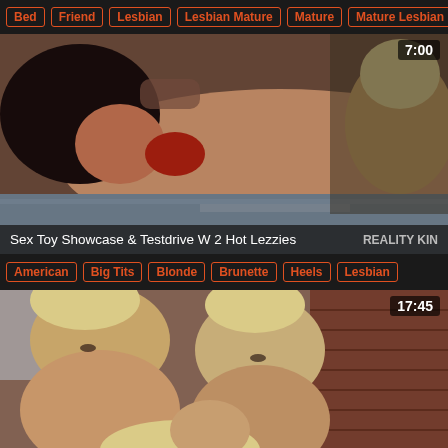Bed | Friend | Lesbian | Lesbian Mature | Mature | Mature Lesbian
[Figure (photo): Video thumbnail showing two women on a leather couch, duration 7:00, title 'Sex Toy Showcase & Testdrive W 2 Hot Lezzies', brand 'REALITY KIN']
American | Big Tits | Blonde | Brunette | Heels | Lesbian
[Figure (photo): Video thumbnail showing three blonde women, duration 17:45]